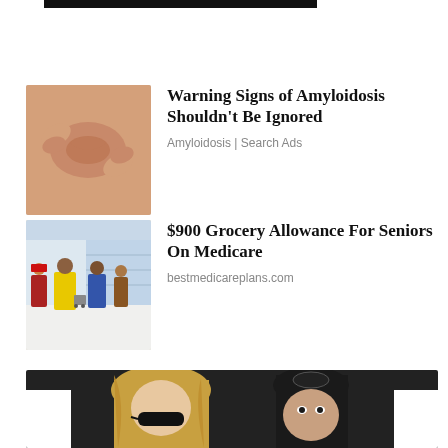[Figure (photo): Black navigation bar at top of webpage]
[Figure (photo): Close-up photo of hands pinching skin, suggesting amyloidosis symptom]
Warning Signs of Amyloidosis Shouldn't Be Ignored
Amyloidosis | Search Ads
[Figure (photo): Photo of people shopping in a grocery store with yellow jacket person prominent]
$900 Grocery Allowance For Seniors On Medicare
bestmedicareplans.com
[Figure (photo): Photo of two women, one blonde with sunglasses, one with dark hair in a claw clip, at what appears to be an event]